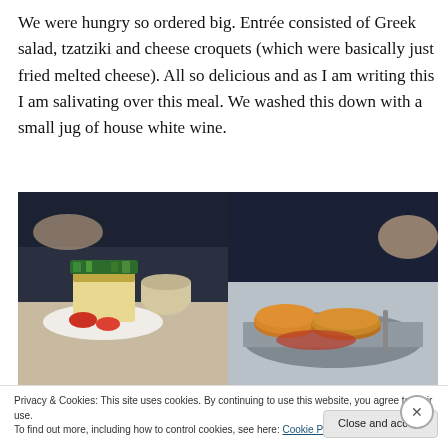We were hungry so ordered big. Entrée consisted of Greek salad, tzatziki and cheese croquets (which were basically just fried melted cheese). All so delicious and as I am writing this I am salivating over this meal. We washed this down with a small jug of house white wine.
[Figure (photo): Two food photos side by side: left shows a plated dish with herbs on top (Greek salad/tzatziki), right shows fried cheese croquets in a pan]
Privacy & Cookies: This site uses cookies. By continuing to use this website, you agree to their use.
To find out more, including how to control cookies, see here: Cookie Policy